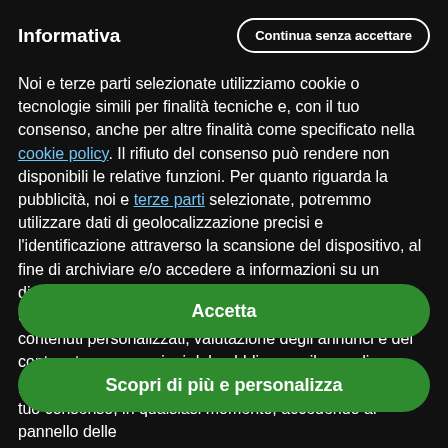Informativa
Continua senza accettare
Noi e terze parti selezionate utilizziamo cookie o tecnologie simili per finalità tecniche e, con il tuo consenso, anche per altre finalità come specificato nella cookie policy. Il rifiuto del consenso può rendere non disponibili le relative funzioni. Per quanto riguarda la pubblicità, noi e terze parti selezionate, potremmo utilizzare dati di geolocalizzazione precisi e l'identificazione attraverso la scansione del dispositivo, al fine di archiviare e/o accedere a informazioni su un dispositivo e trattare dati personali come i tuoi dati di utilizzo, per le seguenti finalità pubblicitarie: annunci e contenuti personalizzati, valutazione degli annunci e del contenuto, osservazioni del pubblico e sviluppo di prodotti. Puoi liberamente prestare, rifiutare o revocare il tuo consenso, in qualsiasi momento, accedendo al pannello delle
Accetta
Scopri di più e personalizza